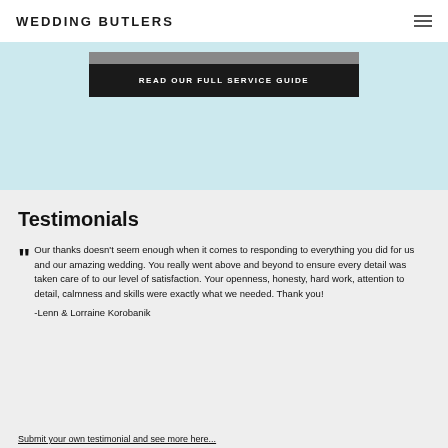WEDDING BUTLERS
READ OUR FULL SERVICE GUIDE
Testimonials
" Our thanks doesn't seem enough when it comes to responding to everything you did for us and our amazing wedding. You really went above and beyond to ensure every detail was taken care of to our level of satisfaction. Your openness, honesty, hard work, attention to detail, calmness and skills were exactly what we needed. Thank you!
-Lenn & Lorraine Korobanik
Submit your own testimonial and see more here...